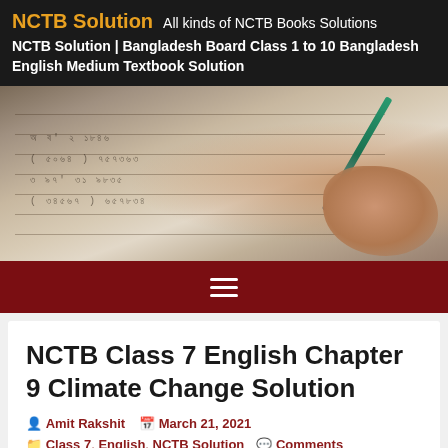NCTB Solution  All kinds of NCTB Books Solutions
NCTB Solution | Bangladesh Board Class 1 to 10 Bangladesh English Medium Textbook Solution
[Figure (photo): Close-up photo of a notebook with handwritten text (appears to be Bengali/Bangla script), with a green pen/pencil held by a hand in the right portion of the image]
☰ (hamburger menu icon)
NCTB Class 7 English Chapter 9 Climate Change Solution
Amit Rakshit   March 21, 2021
Class 7, English, NCTB Solution   Comments